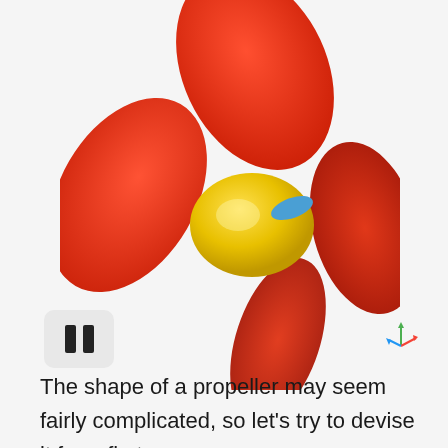[Figure (illustration): 3D rendered red propeller with 4 red blades, a yellow-green hub center, and a small blue accent piece, viewed from slightly above, rotated at an angle. The propeller blades are organic petal-like shapes in bright red.]
[Figure (illustration): A pause button UI element (two vertical bars) inside a light gray rounded rectangle, positioned at bottom left.]
[Figure (illustration): Small 3D coordinate axis icon (X, Y, Z axes in red, green, blue) at bottom right.]
The shape of a propeller may seem fairly complicated, so let’s try to devise it from first